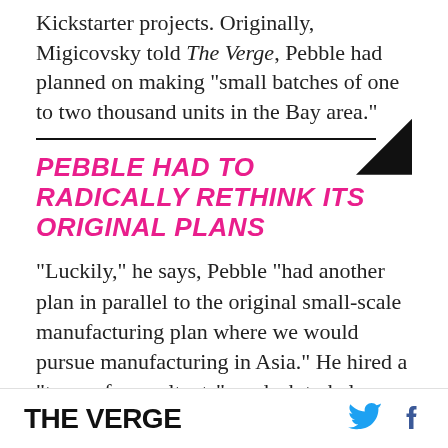Kickstarter projects. Originally, Migicovsky told The Verge, Pebble had planned on making "small batches of one to two thousand units in the Bay area."
PEBBLE HAD TO RADICALLY RETHINK ITS ORIGINAL PLANS
"Luckily," he says, Pebble "had another plan in parallel to the original small-scale manufacturing plan where we would pursue manufacturing in Asia." He hired a "team of consultants" on deck to help guide Pebble through the process of ramping up manufacturing. That inevitably meant tradeoffs
THE VERGE